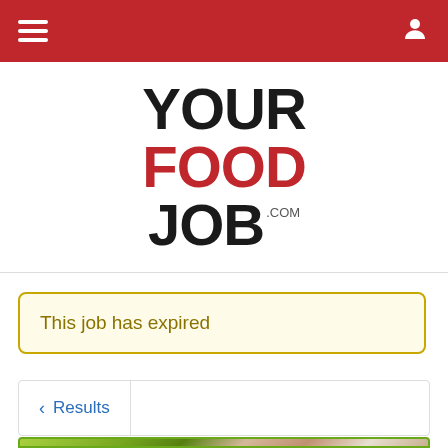Navigation bar with hamburger menu and user icon
[Figure (logo): YourFoodJob.com logo — YOUR in black bold, FOOD in red bold, JOB in black bold with .com superscript in grey]
This job has expired
< Results
[Figure (photo): Bottom partial strip showing a food photo with green border and a blue Moy brand logo on the left]